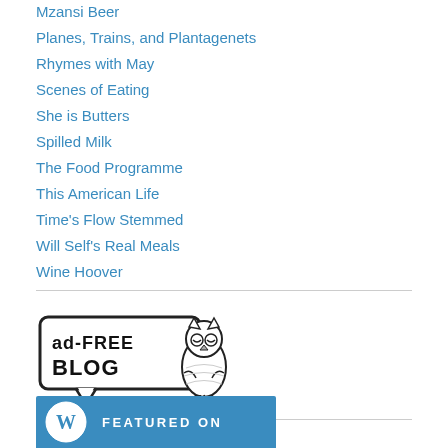Mzansi Beer
Planes, Trains, and Plantagenets
Rhymes with May
Scenes of Eating
She is Butters
Spilled Milk
The Food Programme
This American Life
Time's Flow Stemmed
Will Self's Real Meals
Wine Hoover
[Figure (logo): Ad-Free Blog badge with speech bubble text and owl illustration]
[Figure (logo): WordPress Featured On badge with circular WordPress logo and FEATURED ON text on blue background]